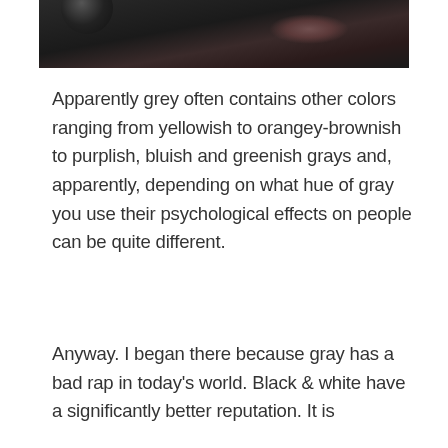[Figure (photo): Dark photograph showing what appears to be a dark surface with a circular object (possibly a glass or bowl) on the left and a reddish-pink splash or reflection on the right, against a very dark background.]
Apparently grey often contains other colors  ranging from yellowish to orangey-brownish to purplish, bluish and greenish grays and, apparently, depending on what hue of gray you use their psychological effects on people can be quite different.
Anyway. I began there because gray has a bad rap in today's world. Black & white have a significantly better reputation. It is